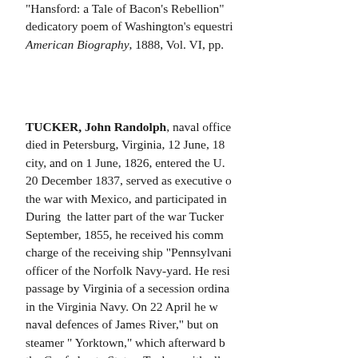"Hansford: a Tale of Bacon's Rebellion" dedicatory poem of Washington's equestri American Biography, 1888, Vol. VI, pp.
TUCKER, John Randolph, naval office died in Petersburg, Virginia, 12 June, 18 city, and on 1 June, 1826, entered the U. 20 December 1837, served as executive o the war with Mexico, and participated in During the latter part of the war Tucker September, 1855, he received his comm charge of the receiving ship "Pennsylvani officer of the Norfolk Navy-yard. He resi passage by Virginia of a secession ordina in the Virginia Navy. On 22 April he w naval defences of James River," but on steamer " Yorktown," which afterward b the Confederate States, Tucker, with all o the Confederate service with the same ra